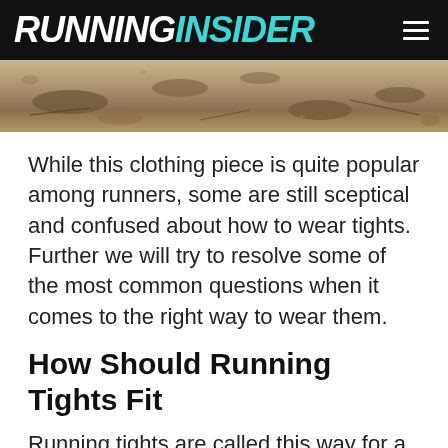RUNNINGINSIDER
[Figure (photo): Outdoor ground photo showing dirt, rocks, twigs and sparse vegetation, appearing to be a trail or natural terrain surface.]
While this clothing piece is quite popular among runners, some are still sceptical and confused about how to wear tights. Further we will try to resolve some of the most common questions when it comes to the right way to wear them.
How Should Running Tights Fit
Running tights are called this way for a reason; they are supposed to feel tight and almost as a second skin. The stretch in its fabric will allow you to move comfortably even in the most.